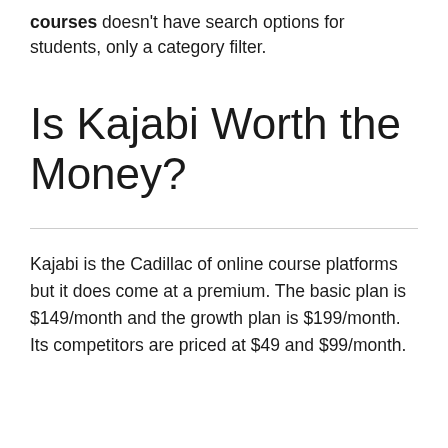courses doesn't have search options for students, only a category filter.
Is Kajabi Worth the Money?
Kajabi is the Cadillac of online course platforms but it does come at a premium. The basic plan is $149/month and the growth plan is $199/month. Its competitors are priced at $49 and $99/month.